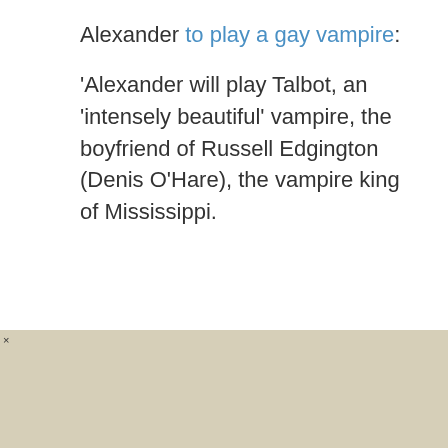Alexander to play a gay vampire:
'Alexander will play Talbot, an 'intensely beautiful' vampire, the boyfriend of Russell Edgington (Denis O'Hare), the vampire king of Mississippi.